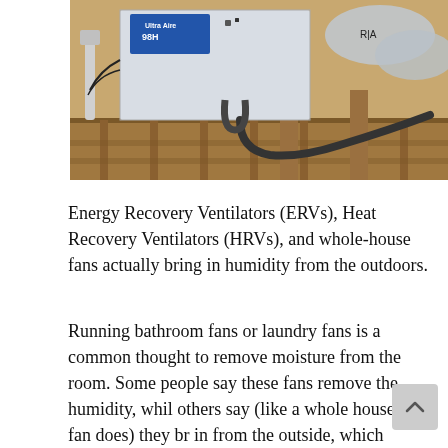[Figure (photo): Photo of an Ultra Aire 98H energy recovery ventilator unit installed in an attic or crawl space, mounted on wooden supports, with insulated ducts and pipes connected, labeled 'R/A' on ductwork.]
Energy Recovery Ventilators (ERVs), Heat Recovery Ventilators (HRVs), and whole-house fans actually bring in humidity from the outdoors.
Running bathroom fans or laundry fans is a common thought to remove moisture from the room. Some people say these fans remove the humidity, whil others say (like a whole house fan does) they br in from the outside, which raises humidity with